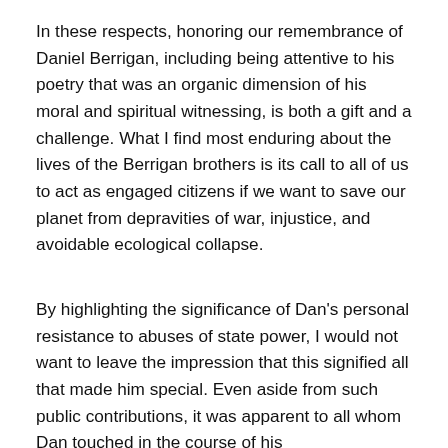In these respects, honoring our remembrance of Daniel Berrigan, including being attentive to his poetry that was an organic dimension of his moral and spiritual witnessing, is both a gift and a challenge. What I find most enduring about the lives of the Berrigan brothers is its call to all of us to act as engaged citizens if we want to save our planet from depravities of war, injustice, and avoidable ecological collapse.
By highlighting the significance of Dan's personal resistance to abuses of state power, I would not want to leave the impression that this signified all that made him special. Even aside from such public contributions, it was apparent to all whom Dan touched in the course of his